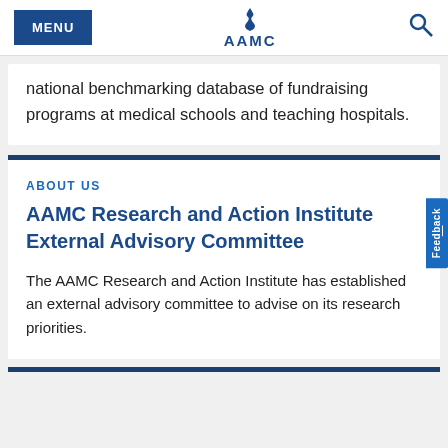MENU | AAMC | Search
national benchmarking database of fundraising programs at medical schools and teaching hospitals.
ABOUT US
AAMC Research and Action Institute External Advisory Committee
The AAMC Research and Action Institute has established an external advisory committee to advise on its research priorities.